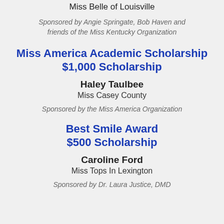Miss Belle of Louisville
Sponsored by Angie Springate, Bob Haven and friends of the Miss Kentucky Organization
Miss America Academic Scholarship $1,000 Scholarship
Haley Taulbee
Miss Casey County
Sponsored by the Miss America Organization
Best Smile Award $500 Scholarship
Caroline Ford
Miss Tops In Lexington
Sponsored by Dr. Laura Justice, DMD